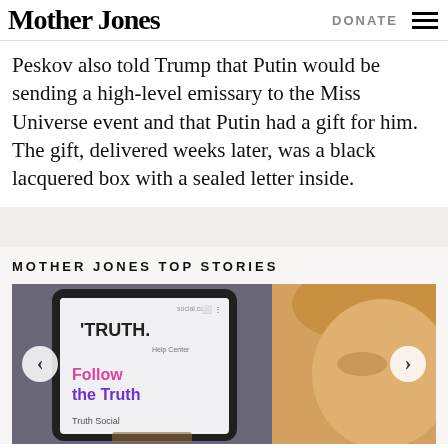Mother Jones | DONATE
Peskov also told Trump that Putin would be sending a high-level emissary to the Miss Universe event and that Putin had a gift for him. The gift, delivered weeks later, was a black lacquered box with a sealed letter inside.
MOTHER JONES TOP STORIES
[Figure (photo): A hand holding a smartphone showing the Truth Social app with 'TRUTH.' logo, 'Help Center' text, and 'Follow the Truth' in pink/purple text. In the background, a blurred image of a person with blonde hair.]